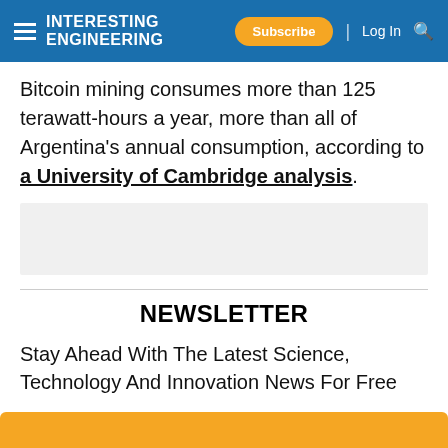Interesting Engineering — Subscribe | Log In
Bitcoin mining consumes more than 125 terawatt-hours a year, more than all of Argentina's annual consumption, according to a University of Cambridge analysis.
[Figure (other): Gray advertisement placeholder box]
NEWSLETTER
Stay Ahead With The Latest Science, Technology And Innovation News For Free
Email address